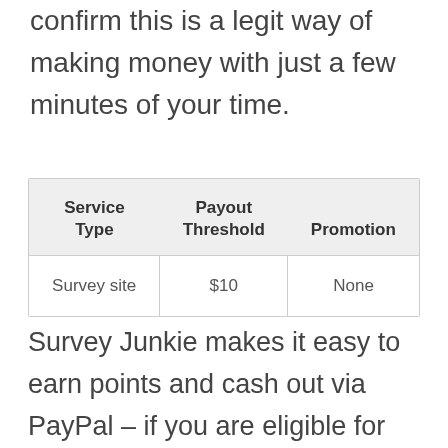confirm this is a legit way of making money with just a few minutes of your time.
| Service Type | Payout Threshold | Promotion |
| --- | --- | --- |
| Survey site | $10 | None |
Survey Junkie makes it easy to earn points and cash out via PayPal – if you are eligible for